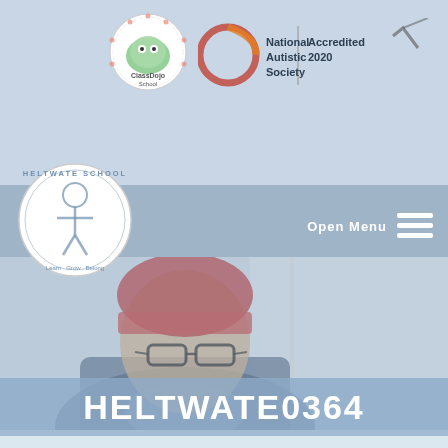[Figure (logo): ClassDojo School circular logo - white circle with colorful monster character and dotted border]
[Figure (logo): National Autistic Society logo with circular graphic and text 'National Autistic Society', plus 'Accredited 2020' text with checkmark]
[Figure (logo): Heltwate School circular logo - white circle with figure/person icon and text around border]
Open Menu
[Figure (photo): Photo of a young student wearing a red knitted beanie hat, dark glasses, white shirt and dark jacket, photographed outdoors against a light wall background. Image has blue/grey overlay tint.]
HELTWATE0364